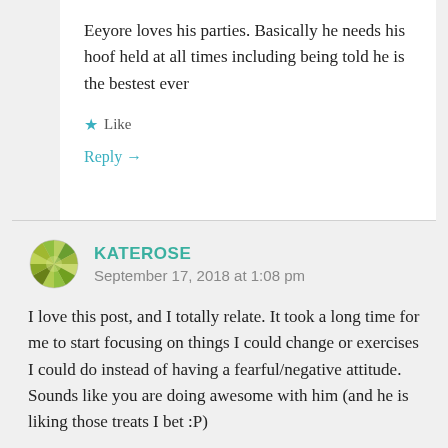Eeyore loves his parties. Basically he needs his hoof held at all times including being told he is the bestest ever
★ Like
Reply →
KATEROSE
September 17, 2018 at 1:08 pm
I love this post, and I totally relate. It took a long time for me to start focusing on things I could change or exercises I could do instead of having a fearful/negative attitude. Sounds like you are doing awesome with him (and he is liking those treats I bet :P)